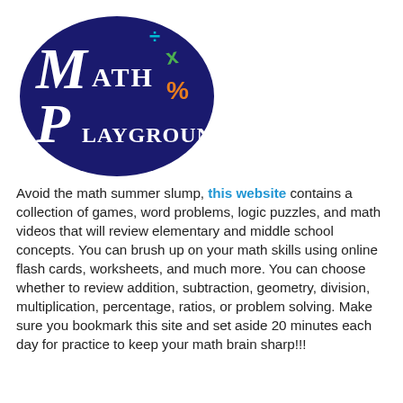[Figure (logo): Math Playground logo: dark navy blue oval with white stylized text 'Math Playground', green X, teal division sign, orange percent sign]
Avoid the math summer slump, this website contains a collection of games, word problems, logic puzzles, and math videos that will review elementary and middle school concepts. You can brush up on your math skills using online flash cards, worksheets, and much more. You can choose whether to review addition, subtraction, geometry, division, multiplication, percentage, ratios, or problem solving. Make sure you bookmark this site and set aside 20 minutes each day for practice to keep your math brain sharp!!!